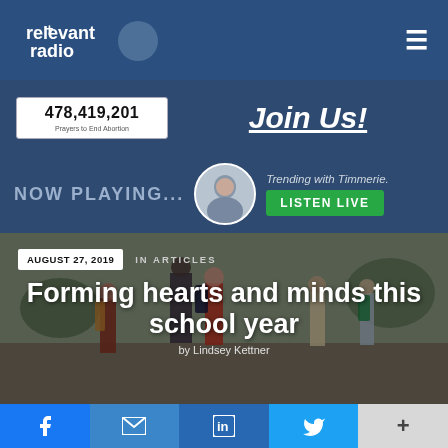relevant radio
478,419,201
Prayers to End Abortion
Join Us!
NOW PLAYING...
Trending with Timmerie.
LISTEN LIVE
AUGUST 27, 2019   IN ARTICLES
Forming hearts and minds this school year
by Lindsey Kettner